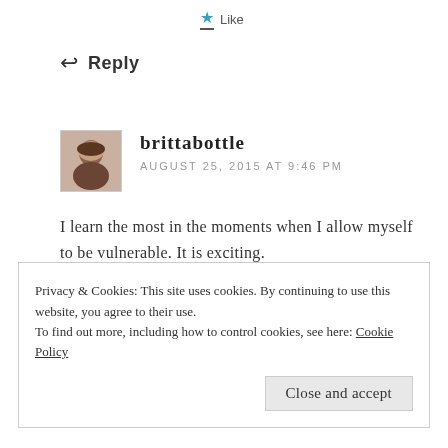Like
Reply
brittabottle
AUGUST 25, 2015 AT 9:46 PM
I learn the most in the moments when I allow myself to be vulnerable. It is exciting.
Liked by 1 person
Reply
Privacy & Cookies: This site uses cookies. By continuing to use this website, you agree to their use. To find out more, including how to control cookies, see here: Cookie Policy
Close and accept